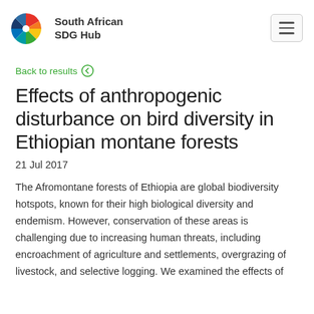[Figure (logo): South African SDG Hub logo — colorful circular fan/wheel icon with multiple colored segments (red, orange, yellow, green, blue, teal) next to text 'South African SDG Hub']
Back to results
Effects of anthropogenic disturbance on bird diversity in Ethiopian montane forests
21 Jul 2017
The Afromontane forests of Ethiopia are global biodiversity hotspots, known for their high biological diversity and endemism. However, conservation of these areas is challenging due to increasing human threats, including encroachment of agriculture and settlements, overgrazing of livestock, and selective logging. We examined the effects of